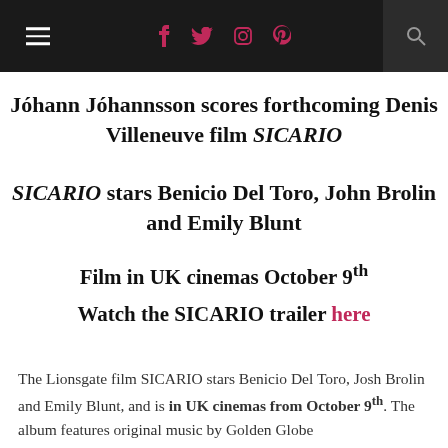≡  f  t  ☷  ⊕  🔍
Jóhann Jóhannsson scores forthcoming Denis Villeneuve film SICARIO
SICARIO stars Benicio Del Toro, John Brolin and Emily Blunt
Film in UK cinemas October 9th
Watch the SICARIO trailer here
The Lionsgate film SICARIO stars Benicio Del Toro, Josh Brolin and Emily Blunt, and is in UK cinemas from October 9th. The album features original music by Golden Globe